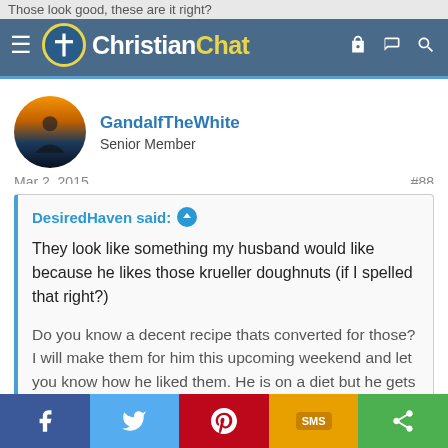Those look good, these are it right?
[Figure (logo): Christian Chat logo with cross icon, white and yellow text on blue header bar]
GandalfTheWhite
Senior Member
Mar 2, 2015
#88
DesiredHaven said: ↑

They look like something my husband would like because he likes those krueller doughnuts (if I spelled that right?)

Do you know a decent recipe thats converted for those? I will make them for him this upcoming weekend and let you know how he liked them. He is on a diet but he gets
Click to expand...
f  Twitter  Pinterest  SMS  Share